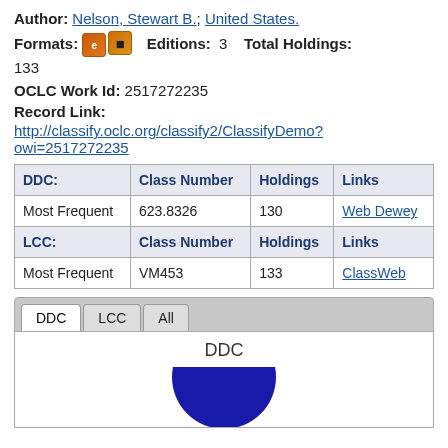Author: Nelson, Stewart B.; United States.
Formats: [icons] Editions: 3 Total Holdings: 133
OCLC Work Id: 2517272235
Record Link:
http://classify.oclc.org/classify2/ClassifyDemo?owi=2517272235
| DDC: | Class Number | Holdings | Links |
| --- | --- | --- | --- |
| Most Frequent | 623.8326 | 130 | Web Dewey |
| LCC: | Class Number | Holdings | Links |
| Most Frequent | VM453 | 133 | ClassWeb |
[Figure (pie-chart): Pie chart showing DDC classification distribution, partially visible at bottom of page]